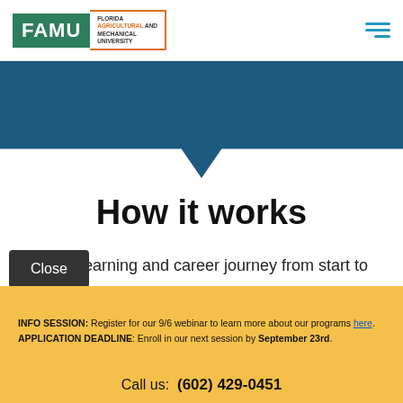[Figure (logo): FAMU Florida Agricultural and Mechanical University logo with green box and orange border]
[Figure (illustration): Blue banner/header graphic with downward pointing chevron arrow at bottom center]
How it works
...ded learning and career journey from start to
Close
INFO SESSION: Register for our 9/6 webinar to learn more about our programs here.
APPLICATION DEADLINE: Enroll in our next session by September 23rd.
Call us:  (602) 429-0451